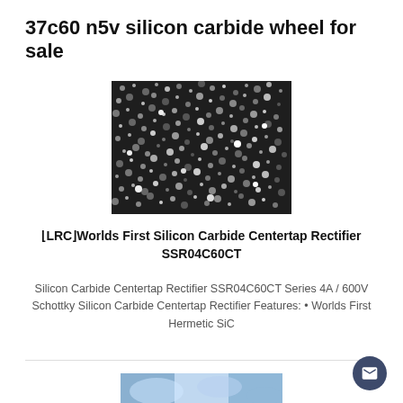37c60 n5v silicon carbide wheel for sale
[Figure (photo): Close-up photograph of silicon carbide granules/grit, showing dark metallic crystalline particles densely packed together.]
│LRC│Worlds First Silicon Carbide Centertap Rectifier SSR04C60CT
Silicon Carbide Centertap Rectifier SSR04C60CT Series 4A / 600V Schottky Silicon Carbide Centertap Rectifier Features: • Worlds First Hermetic SiC
[Figure (photo): Partial view of another silicon carbide related image at the bottom of the page, showing blue/silver crystalline material.]